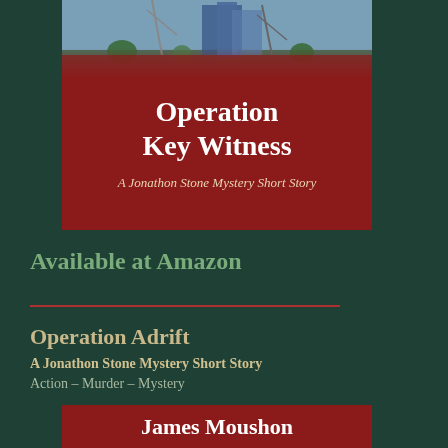[Figure (illustration): Book cover for 'Operation Key Witness' - A Jonathon Stone Mystery Short Story, dark red background with a city/marina photo at top, white bold title text and cream subtitle text]
Available at Amazon
Operation Adrift
A Jonathon Stone Mystery Short Story
Action – Murder – Mystery
James Moushon